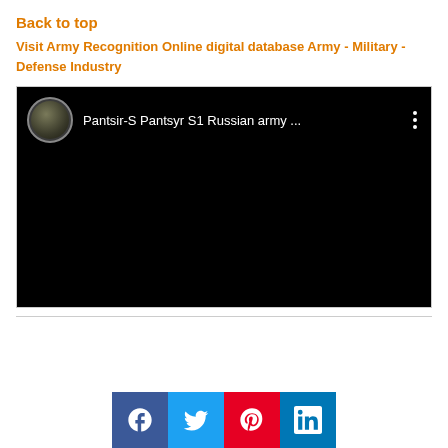Back to top
Visit Army Recognition Online digital database Army - Military - Defense Industry
[Figure (screenshot): YouTube video embed showing 'Pantsir-S Pantsyr S1 Russian army ...' with a circular avatar thumbnail and three-dot menu icon on black background]
[Figure (infographic): Social media share buttons: Facebook (blue), Twitter (light blue), Pinterest (red), LinkedIn (teal/blue)]